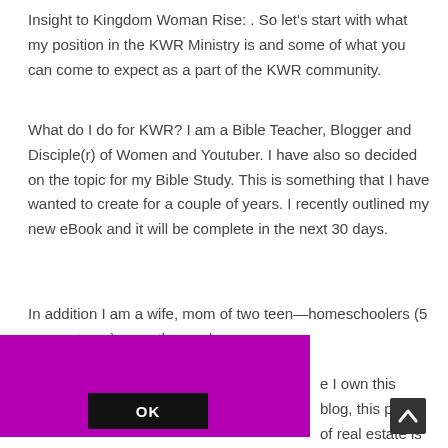Insight to Kingdom Woman Rise: . So let's start with what my position in the KWR Ministry is and some of what you can come to expect as a part of the KWR community.
What do I do for KWR? I am a Bible Teacher, Blogger and Disciple(r) of Women and Youtuber. I have also so decided on the topic for my Bible Study. This is something that I have wanted to create for a couple of years. I recently outlined my new eBook and it will be complete in the next 30 days.
In addition I am a wife, mom of two teen—homeschoolers (5 years strong) an author and more.
e I own this blog, this piece of real estate is ministry inspired business. However, I am very clear that it all belongs to God.  So I am more of a